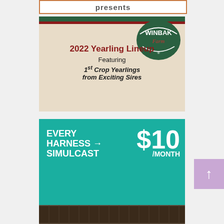presents
[Figure (illustration): Winbak Farm advertisement featuring 2022 Yearling Lineup with green and red header bar, Winbak Farm logo, text: '2022 Yearling Lineup Featuring 1st Crop Yearlings from Exciting Sires' on a beige background]
[Figure (illustration): Teal advertisement banner reading 'EVERY HARNESS SIMULCAST → $10 /MONTH' with horse racing image at bottom]